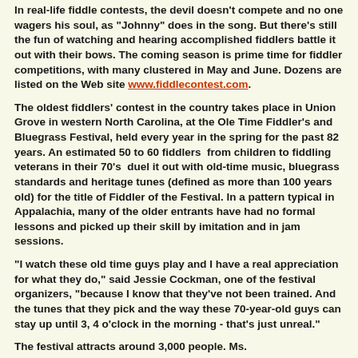In real-life fiddle contests, the devil doesn't compete and no one wagers his soul, as "Johnny" does in the song. But there's still the fun of watching and hearing accomplished fiddlers battle it out with their bows. The coming season is prime time for fiddler competitions, with many clustered in May and June. Dozens are listed on the Web site www.fiddlecontest.com.
The oldest fiddlers' contest in the country takes place in Union Grove in western North Carolina, at the Ole Time Fiddler's and Bluegrass Festival, held every year in the spring for the past 82 years. An estimated 50 to 60 fiddlers  from children to fiddling veterans in their 70's  duel it out with old-time music, bluegrass standards and heritage tunes (defined as more than 100 years old) for the title of Fiddler of the Festival. In a pattern typical in Appalachia, many of the older entrants have had no formal lessons and picked up their skill by imitation and in jam sessions.
"I watch these old time guys play and I have a real appreciation for what they do," said Jessie Cockman, one of the festival organizers, "because I know that they've not been trained. And the tunes that they pick and the way these 70-year-old guys can stay up until 3, 4 o'clock in the morning - that's just unreal."
The festival attracts around 3,000 people. Ms.